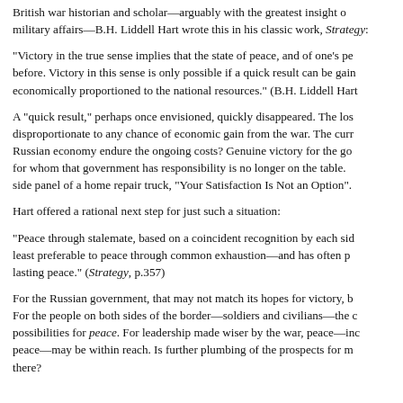British war historian and scholar—arguably with the greatest insight of military affairs—B.H. Liddell Hart wrote this in his classic work, Strategy:
“Victory in the true sense implies that the state of peace, and of one’s pe before. Victory in this sense is only possible if a quick result can be gain economically proportioned to the national resources.”  (B.H. Liddell Hart
A “quick result,” perhaps once envisioned, quickly disappeared. The los disproportionate to any chance of economic gain from the war. The curr Russian economy endure the ongoing costs?  Genuine victory for the go for whom that government has responsibility is no longer on the table. side panel of a home repair truck, “Your Satisfaction Is Not an Option”.
Hart offered a rational next step for just such a situation:
“Peace through stalemate, based on a coincident recognition by each sid least preferable to peace through common exhaustion—and has often p lasting peace.”  (Strategy, p.357)
For the Russian government, that may not match its hopes for victory, b For the people on both sides of the border—soldiers and civilians—the c possibilities for peace. For leadership made wiser by the war, peace—inc peace—may be within reach. Is further plumbing of the prospects for m there?